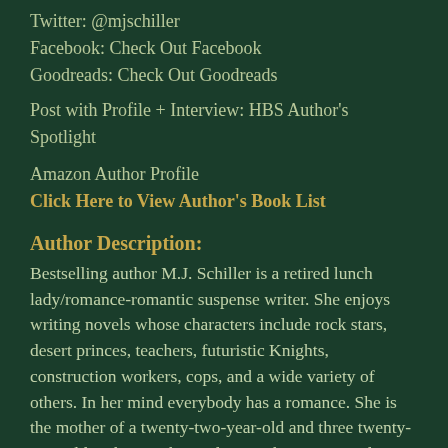Twitter: @mjschiller
Facebook: Check Out Facebook
Goodreads: Check Out Goodreads
Post with Profile + Interview: HBS Author's Spotlight
Amazon Author Profile
Click Here to View Author's Book List
Author Description:
Bestselling author M.J. Schiller is a retired lunch lady/romance-romantic suspense writer. She enjoys writing novels whose characters include rock stars, desert princes, teachers, futuristic Knights, construction workers, cops, and a wide variety of others. In her mind everybody has a romance. She is the mother of a twenty-two-year-old and three twenty-year-olds. That's right, triplets! So having recently taught four children to drive, she likes to escape from life on occasion by pretending to be a rock star at karaoke. However…you won't be seeing her name on any